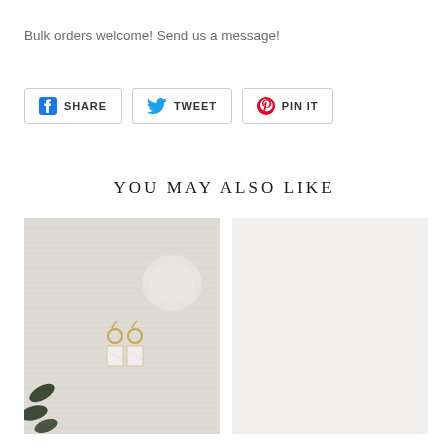Bulk orders welcome! Send us a message!
[Figure (other): Social share buttons: Facebook SHARE, Twitter TWEET, Pinterest PIN IT]
YOU MAY ALSO LIKE
[Figure (photo): Photo of gold hoop dangle earrings with white marble rectangular charms, laid on a light grey knit fabric with green leaves and a white shell]
[Figure (photo): Light grey/white empty product image placeholder]